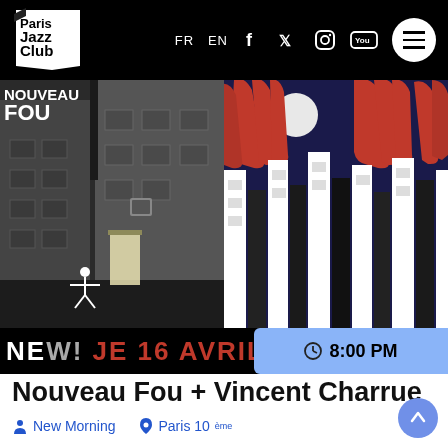Paris Jazz Club — FR EN — navigation header
[Figure (photo): Left: black and white photo of a city street at night with a small illuminated figure. Right: graphic illustration with large red hands reaching over a city of white and black buildings under a dark blue sky with white moon.]
NEW! JE 16 AVRIL S... 8:00 PM
Nouveau Fou + Vincent Charrue
New Morning   Paris 10ème